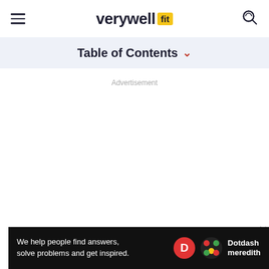verywell fit
Table of Contents
Advertisement
Advertisement
Ad
We help people find answers, solve problems and get inspired. Dotdash meredith